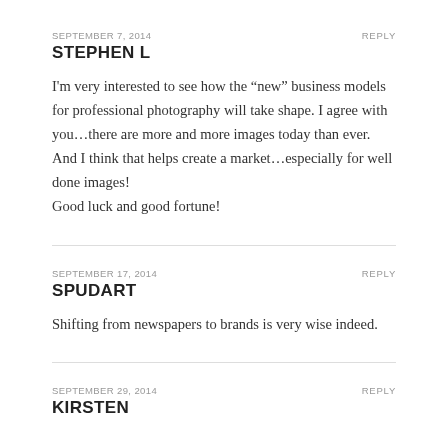SEPTEMBER 7, 2014
REPLY
STEPHEN L
I'm very interested to see how the “new” business models for professional photography will take shape. I agree with you…there are more and more images today than ever. And I think that helps create a market…especially for well done images!
Good luck and good fortune!
SEPTEMBER 17, 2014
REPLY
SPUDART
Shifting from newspapers to brands is very wise indeed.
SEPTEMBER 29, 2014
REPLY
KIRSTEN